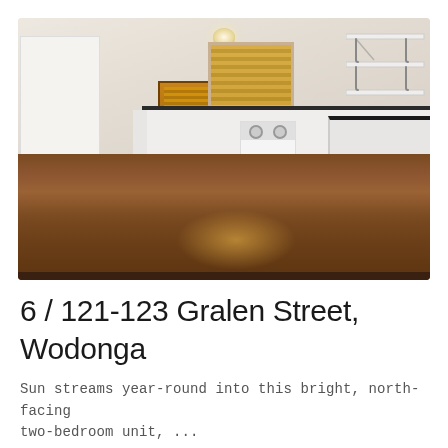[Figure (photo): Interior kitchen photo showing white cabinets, dark timber benchtops, hardwood floors, a window with timber blinds, back door with matching blinds, open shelving with decorative brackets on the right wall, and a white stove/oven. Light-filled, north-facing room.]
6 / 121-123 Gralen Street, Wodonga
Sun streams year-round into this bright, north-facing two-bedroom unit, ...